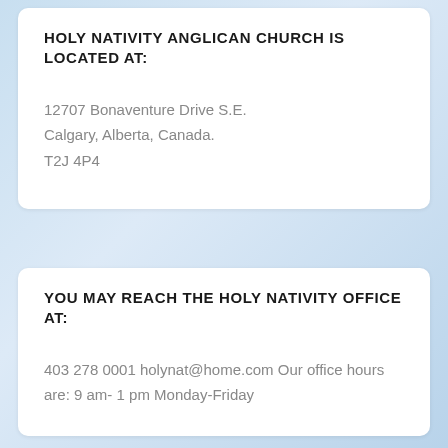HOLY NATIVITY ANGLICAN CHURCH IS LOCATED AT:
12707 Bonaventure Drive S.E.
Calgary, Alberta, Canada.
T2J 4P4
YOU MAY REACH THE HOLY NATIVITY OFFICE AT:
403 278 0001 holynat@home.com Our office hours are: 9 am- 1 pm Monday-Friday